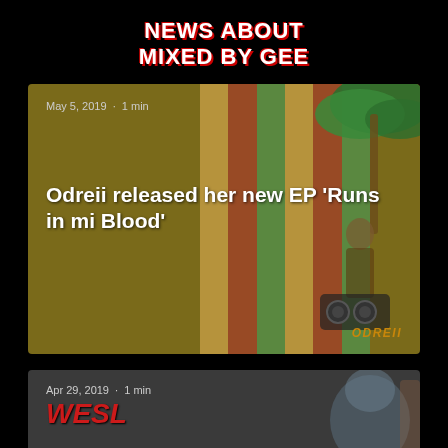NEWS ABOUT
MIXED BY GEE
[Figure (illustration): News card for Odreii EP release - olive/gold background with colored stripes, palm tree, figure with boombox. Date: May 5, 2019 · 1 min. Title: Odreii released her new EP 'Runs in mi Blood'. Artist label: ODREII bottom right.]
[Figure (photo): Second news card partially visible - darker background with portrait. Date: Apr 29, 2019 · 1 min. Text: WESL partially visible.]